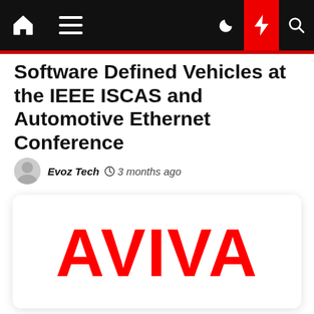navbar with home, menu, dark mode, lightning, search icons
Software Defined Vehicles at the IEEE ISCAS and Automotive Ethernet Conference
Evoz Tech  3 months ago
[Figure (logo): AVIVA logo in red bold capital letters on white card background]